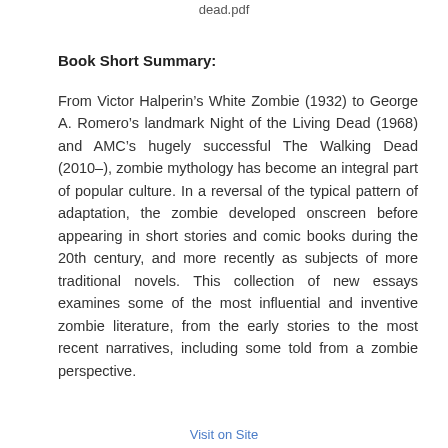dead.pdf
Book Short Summary:
From Victor Halperin’s White Zombie (1932) to George A. Romero’s landmark Night of the Living Dead (1968) and AMC’s hugely successful The Walking Dead (2010–), zombie mythology has become an integral part of popular culture. In a reversal of the typical pattern of adaptation, the zombie developed onscreen before appearing in short stories and comic books during the 20th century, and more recently as subjects of more traditional novels. This collection of new essays examines some of the most influential and inventive zombie literature, from the early stories to the most recent narratives, including some told from a zombie perspective.
Visit on Site